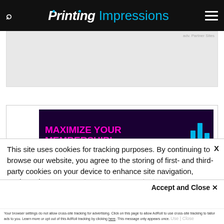Printing Impressions
[Figure (other): Gray advertisement placeholder area at top of page]
[Figure (other): Purple advertisement banner reading MAXIMIZE YOUR MEMBERSHIP! with bar chart graphic and close X button]
This site uses cookies for tracking purposes. By continuing to browse our website, you agree to the storing of first- and third-party cookies on your device to enhance site navigation, analyze site usage, and assist in our marketing and
Accept and Close ✕
Your browser settings do not allow cross-site tracking for advertising. Click on this page to allow AdRoll to use cross-site tracking to tailor ads to you. Learn more or opt out of this AdRoll tracking by clicking here. This message only appears once.